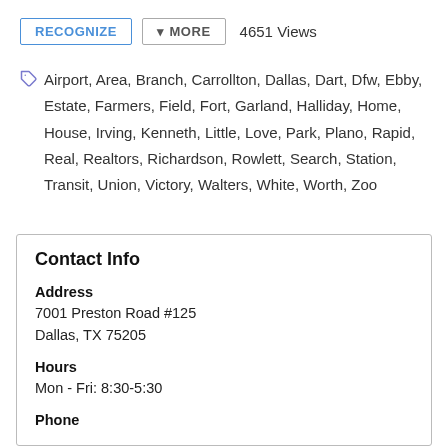RECOGNIZE  ▾ MORE  4651 Views
Airport, Area, Branch, Carrollton, Dallas, Dart, Dfw, Ebby, Estate, Farmers, Field, Fort, Garland, Halliday, Home, House, Irving, Kenneth, Little, Love, Park, Plano, Rapid, Real, Realtors, Richardson, Rowlett, Search, Station, Transit, Union, Victory, Walters, White, Worth, Zoo
Contact Info
Address
7001 Preston Road #125
Dallas, TX 75205
Hours
Mon - Fri: 8:30-5:30
Phone